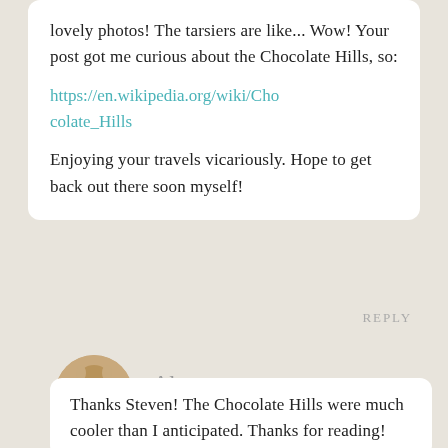lovely photos! The tarsiers are like... Wow! Your post got me curious about the Chocolate Hills, so:
https://en.wikipedia.org/wiki/Chocolate_Hills
Enjoying your travels vicariously. Hope to get back out there soon myself!
REPLY
Alex
July 31 2013
Thanks Steven! The Chocolate Hills were much cooler than I anticipated. Thanks for reading!